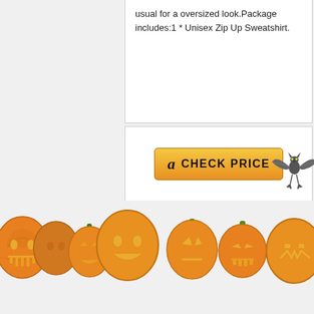usual for a oversized look.Package includes:1 * Unisex Zip Up Sweatshirt.
[Figure (illustration): Amazon CHECK PRICE button with orange/yellow gradient styling and Amazon logo 'a', overlaid by a cartoon bat hanging upside down]
GOOD PRICE QUALITY RATIO
Crazy Dog T-Shirts
[Figure (photo): Gray hoodie sweatshirt with text 'ZOMBIES EAT BRAINS' in green lettering on the front]
[Figure (illustration): Row of Halloween jack-o-lantern pumpkins with various carved faces, decorative border at bottom of page, including a cartoon character pumpkin]